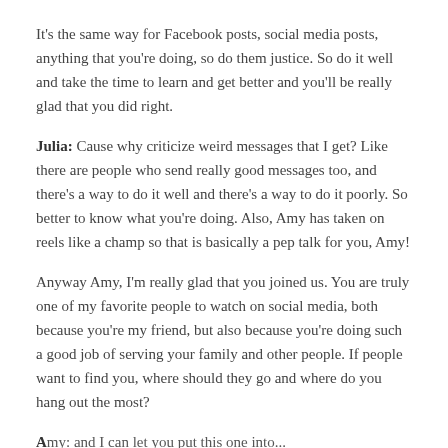It's the same way for Facebook posts, social media posts, anything that you're doing, so do them justice. So do it well and take the time to learn and get better and you'll be really glad that you did right.
Julia: Cause why criticize weird messages that I get? Like there are people who send really good messages too, and there's a way to do it well and there's a way to do it poorly. So better to know what you're doing. Also, Amy has taken on reels like a champ so that is basically a pep talk for you, Amy!
Anyway Amy, I'm really glad that you joined us. You are truly one of my favorite people to watch on social media, both because you're my friend, but also because you're doing such a good job of serving your family and other people. If people want to find you, where should they go and where do you hang out the most?
Amy: And I can let you put this one into...